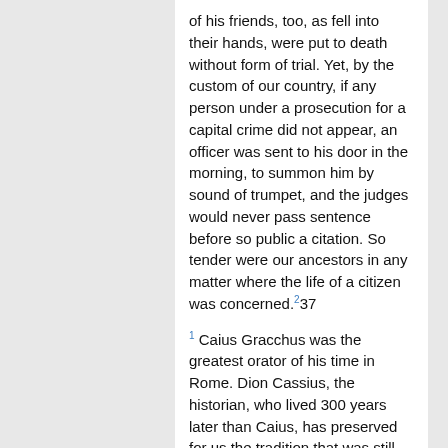of his friends, too, as fell into their hands, were put to death without form of trial. Yet, by the custom of our country, if any person under a prosecution for a capital crime did not appear, an officer was sent to his door in the morning, to summon him by sound of trumpet, and the judges would never pass sentence before so public a citation. So tender were our ancestors in any matter where the life of a citizen was concerned.²37
1 Caius Gracchus was the greatest orator of his time in Rome. Dion Cassius, the historian, who lived 300 years later than Caius, has preserved for us the tradition that was still extant in his time. He says Caius "far surpassed Tiberius in his gift of